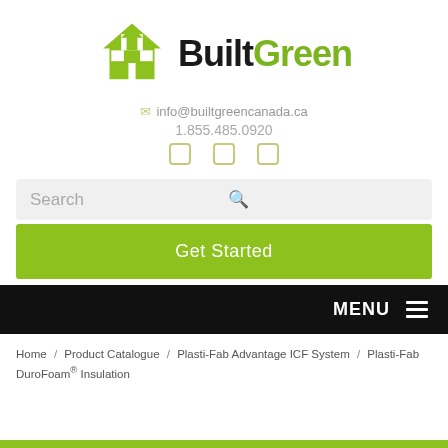[Figure (logo): BuiltGreen logo with house icon and BuiltGreen text, house in green, 'Built' in black bold, 'Green' in lime green]
info@builtgreencanada.ca
1.855.485.0920
Search
Get Started
MENU
Home / Product Catalogue / Plasti-Fab Advantage ICF System / Plasti-Fab DuroFoam® Insulation